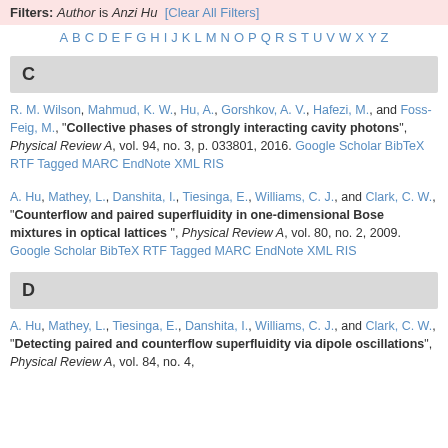Filters: Author is Anzi Hu [Clear All Filters]
A B C D E F G H I J K L M N O P Q R S T U V W X Y Z
C
R. M. Wilson, Mahmud, K. W., Hu, A., Gorshkov, A. V., Hafezi, M., and Foss-Feig, M., "Collective phases of strongly interacting cavity photons", Physical Review A, vol. 94, no. 3, p. 033801, 2016. Google Scholar BibTeX RTF Tagged MARC EndNote XML RIS
A. Hu, Mathey, L., Danshita, I., Tiesinga, E., Williams, C. J., and Clark, C. W., "Counterflow and paired superfluidity in one-dimensional Bose mixtures in optical lattices", Physical Review A, vol. 80, no. 2, 2009. Google Scholar BibTeX RTF Tagged MARC EndNote XML RIS
D
A. Hu, Mathey, L., Tiesinga, E., Danshita, I., Williams, C. J., and Clark, C. W., "Detecting paired and counterflow superfluidity via dipole oscillations", Physical Review A, vol. 84, no. 4,